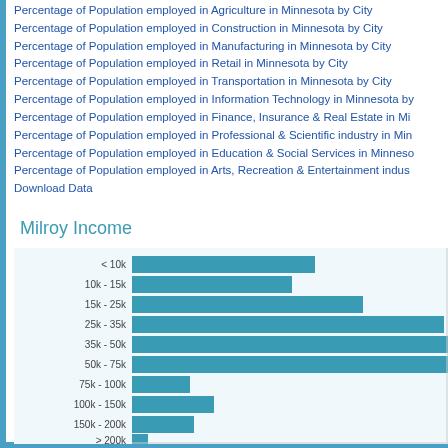Percentage of Population employed in Agriculture in Minnesota by City
Percentage of Population employed in Construction in Minnesota by City
Percentage of Population employed in Manufacturing in Minnesota by City
Percentage of Population employed in Retail in Minnesota by City
Percentage of Population employed in Transportation in Minnesota by City
Percentage of Population employed in Information Technology in Minnesota by City
Percentage of Population employed in Finance, Insurance & Real Estate in Minnesota
Percentage of Population employed in Professional & Scientific industry in Minnesota
Percentage of Population employed in Education & Social Services in Minnesota
Percentage of Population employed in Arts, Recreation & Entertainment industry
Download Data
Milroy Income
[Figure (bar-chart): Milroy Income]